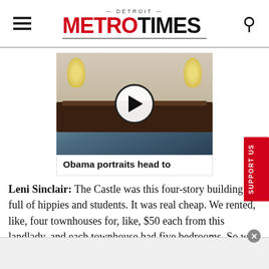DETROIT METRO TIMES
[Figure (screenshot): Video thumbnail showing an elegant dining room with a long dark wood table, chandeliers, and ornate white walls. A circular play button is overlaid in the center.]
Obama portraits head to
Leni Sinclair: The Castle was this four-story building full of hippies and students. It was real cheap. We rented, like, four townhouses for, like, $50 each from this landlady, and each townhouse had five bedrooms. So we would rent out a bedroom for $15 a month, which made it possible for all